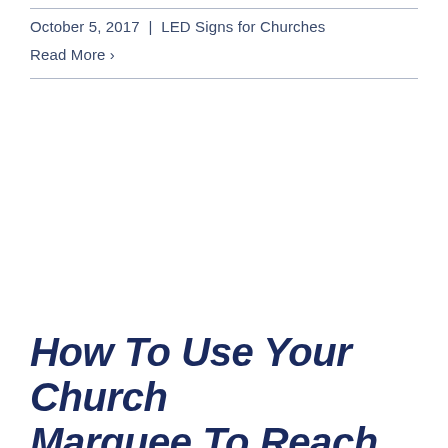October 5, 2017 | LED Signs for Churches
Read More >
How To Use Your Church Marquee To Reach Congregants